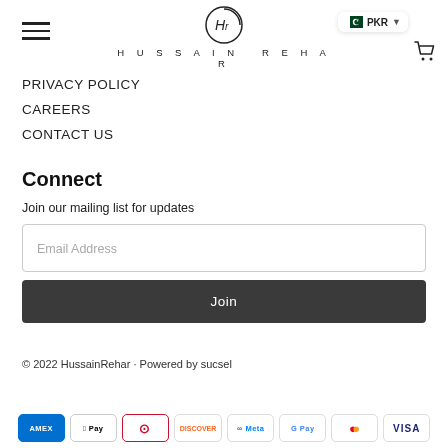HUSSAIN REHAR — PKR header with navigation menu and cart
PRIVACY POLICY
CAREERS
CONTACT US
Connect
Join our mailing list for updates
Email Address
Join
© 2022 HussainRehar · Powered by sucsel
[Figure (other): Payment method icons: AMEX, Apple Pay, Diners Club, Discover, Meta Pay, Google Pay, Mastercard, Visa]